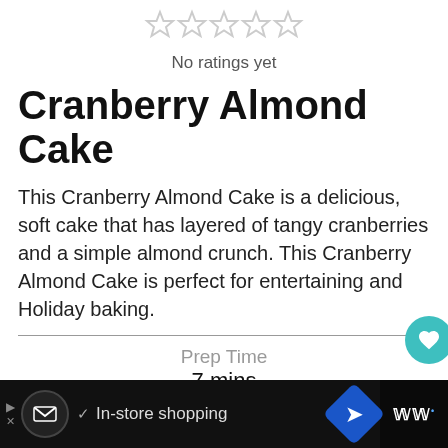[Figure (other): Five empty star rating icons indicating no ratings yet]
No ratings yet
Cranberry Almond Cake
This Cranberry Almond Cake is a delicious, soft cake that has layered of tangy cranberries and a simple almond crunch. This Cranberry Almond Cake is perfect for entertaining and Holiday baking.
Prep Time
7 mins
Cook Time
50 mins
Total Time
In-store shopping